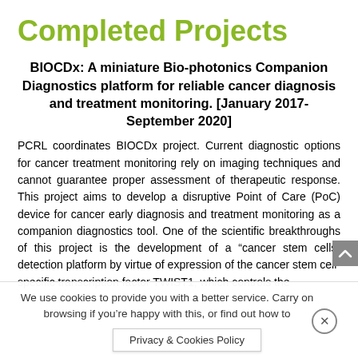Completed Projects
BIOCDx: A miniature Bio-photonics Companion Diagnostics platform for reliable cancer diagnosis and treatment monitoring. [January 2017-September 2020]
PCRL coordinates BIOCDx project. Current diagnostic options for cancer treatment monitoring rely on imaging techniques and cannot guarantee proper assessment of therapeutic response. This project aims to develop a disruptive Point of Care (PoC) device for cancer early diagnosis and treatment monitoring as a companion diagnostics tool. One of the scientific breakthroughs of this project is the development of a “cancer stem cells” detection platform by virtue of expression of the cancer stem cell-specific transcription factor TWIST1, which controls the compartment manage co Privacy & Cookies Policy e, adv